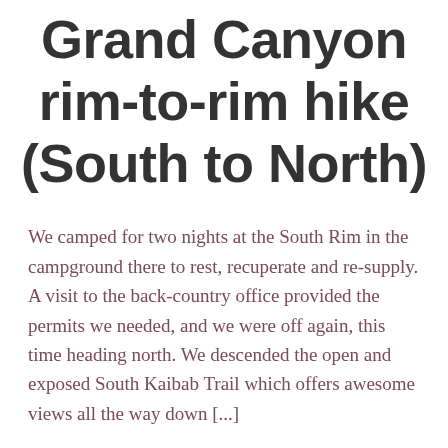Grand Canyon rim-to-rim hike (South to North)
We camped for two nights at the South Rim in the campground there to rest, recuperate and re-supply. A visit to the back-country office provided the permits we needed, and we were off again, this time heading north. We descended the open and exposed South Kaibab Trail which offers awesome views all the way down [...]